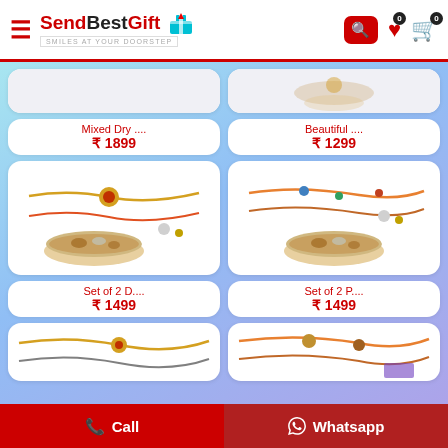SendBestGift - Smiles at Your Doorstep
[Figure (screenshot): Product card: Mixed Dry .... ₹1899]
Mixed Dry ....
₹ 1899
[Figure (screenshot): Product card: Beautiful .... ₹1299]
Beautiful ....
₹ 1299
[Figure (photo): Set of 2 rakhi bracelets with dry fruits bowl]
Set of 2 D....
₹ 1499
[Figure (photo): Set of 2 rakhi bracelets with dry fruits bowl]
Set of 2 P....
₹ 1499
[Figure (photo): Partial rakhi product images at bottom]
Call | Whatsapp